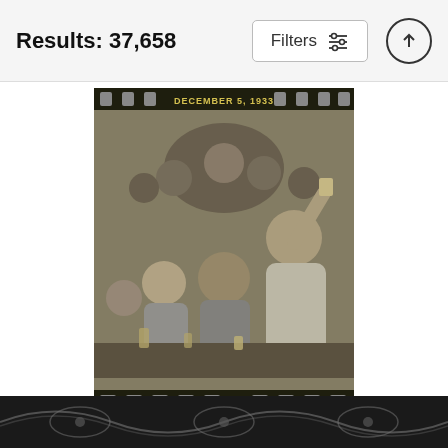Results: 37,658
[Figure (photo): Black and white vintage photograph from December 5, 1933 showing a group of people celebrating the end of Prohibition, raising glasses and drinks. Photo presented in a film strip style frame with sprocket holes visible at top and bottom.]
Prohibition Ends Celebrate Yoga Mat
Jon Neidert
$60 (crossed out) $48
[Figure (photo): Partial view of another product at the bottom of the page — dark colored item with decorative pattern, only partially visible.]